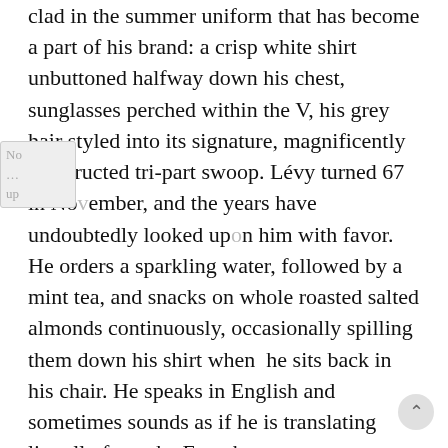clad in the summer uniform that has become a part of his brand: a crisp white shirt unbuttoned halfway down his chest, sunglasses perched within the V, his grey hair styled into its signature, magnificently constructed tri-part swoop. Lévy turned 67 in November, and the years have undoubtedly looked upon him with favor. He orders a sparkling water, followed by a mint tea, and snacks on whole roasted salted almonds continuously, occasionally spilling them down his shirt when  he sits back in his chair. He speaks in English and sometimes sounds as if he is translating literally from the French.

At the time of our encounter, Lévy is on vacation. When in Marrakesh, he stays at the house he acquired around 20 years ago from the French actor...